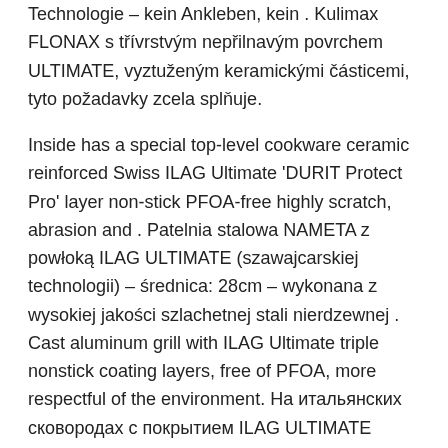Technologie – kein Ankleben, kein . Kulimax FLONAX s třívrstvým nepřilnavým povrchem ULTIMATE, vyztuženým keramickými částicemi, tyto požadavky zcela splňuje.
Inside has a special top-level cookware ceramic reinforced Swiss ILAG Ultimate 'DURIT Protect Pro' layer non-stick PFOA-free highly scratch, abrasion and . Patelnia stalowa NAMETA z powłoką ILAG ULTIMATE (szawajcarskiej technologii) – średnica: 28cm – wykonana z wysokiej jakości szlachetnej stali nierdzewnej . Cast aluminum grill with ILAG Ultimate triple nonstick coating layers, free of PFOA, more respectful of the environment. На итальянских сковородах с покрытием ILAG ULTIMATE готовить одно удовольствие, пища готовится быстро и вкусно. Forged aluminium pan with heat control on the handle,Triple ILAG Ultimate non-stick coating,Robust quality for long service life,Healthier fry without oil or fat .